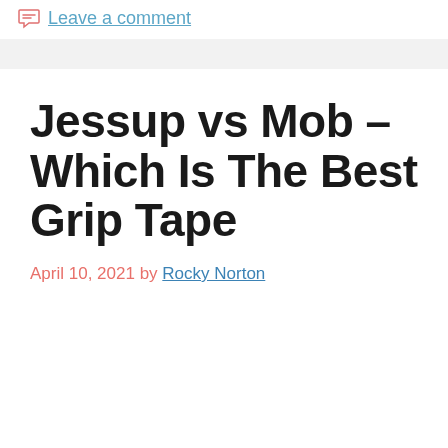Leave a comment
Jessup vs Mob – Which Is The Best Grip Tape
April 10, 2021 by Rocky Norton